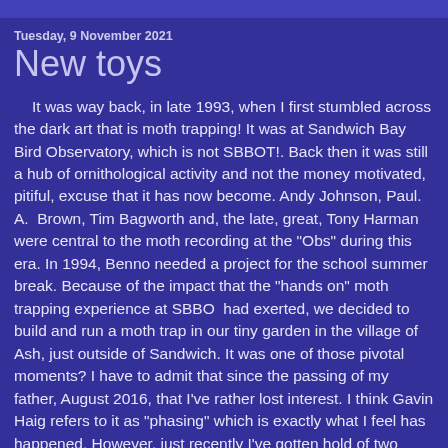Tuesday, 9 November 2021
New toys
It was way back, in late 1993, when I first stumbled across the dark art that is moth trapping! It was at Sandwich Bay Bird Observatory, which is not SBBOT!. Back then it was still a hub of ornithological activity and not the money motivated, pitiful, excuse that it has now become. Andy Johnson, Paul. A.  Brown, Tim Bagworth and, the late, great, Tony Harman were central to the moth recording at the "Obs" during this era. In 1994, Benno needed a project for the school summer break. Because of the impact that the "hands on" moth trapping experience at SBBO  had exerted, we decided to build and run a moth trap in our tiny garden in the village of Ash, just outside of Sandwich. It was one of those pivotal moments? I have to admit that since the passing of my father, August 2016, that I've rather lost interest. I think Gavin Haig refers to it as "phasing" which is exactly what I feel has happened. However, just recently I've gotten hold of two 125w Robinson MV moth traps and am really looking forward